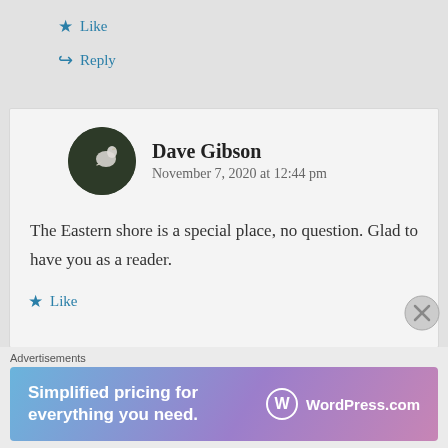Like
Reply
Dave Gibson
November 7, 2020 at 12:44 pm
The Eastern shore is a special place, no question. Glad to have you as a reader.
Like
Advertisements
[Figure (other): WordPress.com advertisement banner with gradient background: 'Simplified pricing for everything you need.' with WordPress.com logo]